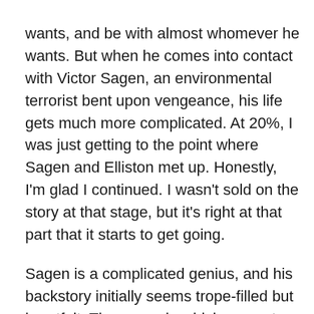wants, and be with almost whomever he wants. But when he comes into contact with Victor Sagen, an environmental terrorist bent upon vengeance, his life gets much more complicated. At 20%, I was just getting to the point where Sagen and Elliston met up. Honestly, I'm glad I continued. I wasn't sold on the story at that stage, but it's right at that part that it starts to get going.
Sagen is a complicated genius, and his backstory initially seems trope-filled but heartfelt. The scene in which you get his backstory and the reason why he is on a quest for revenge through ecological terrorism is a huge high point in the book. It gripped me and didn't let me go. I was absolutely invested. And AJ Frazer, the author, rides that high for the rest of the book. I don't say that in a negative way. What I mean is that it is very difficult to decide whose